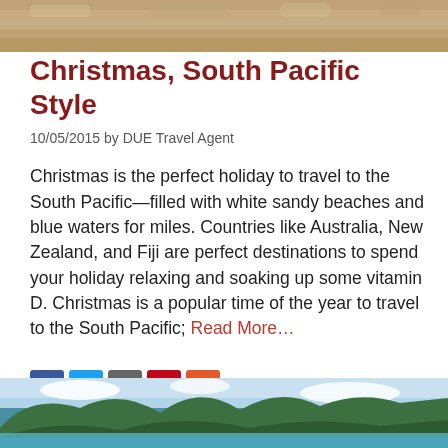[Figure (photo): Sandy beach close-up photo at the top of the page]
Christmas, South Pacific Style
10/05/2015 by DUE Travel Agent
Christmas is the perfect holiday to travel to the South Pacific—filled with white sandy beaches and blue waters for miles. Countries like Australia, New Zealand, and Fiji are perfect destinations to spend your holiday relaxing and soaking up some vitamin D. Christmas is a popular time of the year to travel to the South Pacific; Read More…
[Figure (other): Social share buttons: Facebook, Twitter, Print, Pinterest, Plus]
[Figure (photo): Tropical mountain landscape with turquoise water at the bottom of the page]